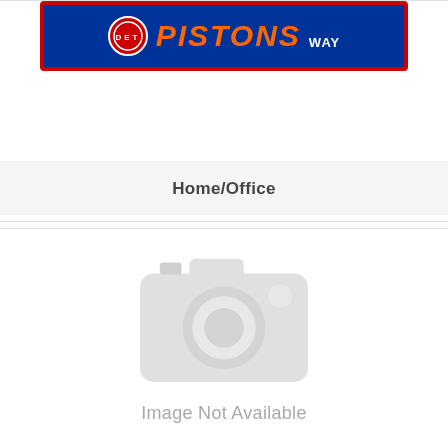[Figure (photo): Detroit Pistons street sign — blue background with red border, Pistons logo circle on left, PISTONS in orange italic text, WAY in white text on right]
Home/Office
[Figure (photo): Image Not Available placeholder — grey camera icon with text 'Image Not Available' below it]